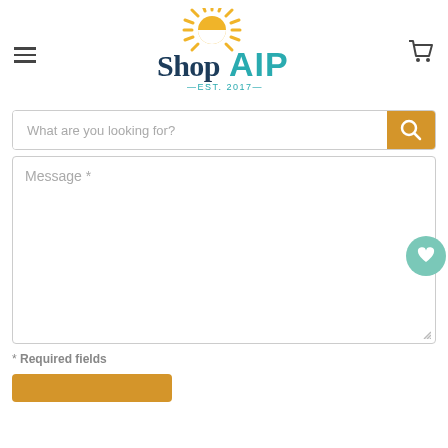[Figure (logo): ShopAIP logo with sun graphic and text 'Shop' in dark navy and 'AIP' in teal, with '—EST. 2017—' below]
What are you looking for?
Message *
* Required fields